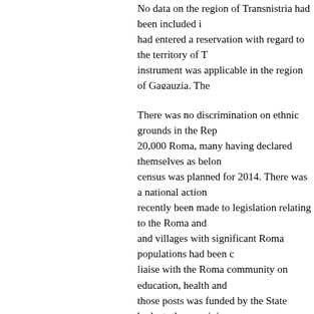No data on the region of Transnistria had been included i... had entered a reservation with regard to the territory of T... instrument was applicable in the region of Gagauzia. The... made little difference since the region was represented on... working group on social policy and humanitarian assistam... affecting women in the region, such as domestic violence...
There was no discrimination on ethnic grounds in the Rep... 20,000 Roma, many having declared themselves as belon... census was planned for 2014. There was a national action... recently been made to legislation relating to the Roma and... and villages with significant Roma populations had been... liaise with the Roma community on education, health and... those posts was funded by the State budget; the remaining... training would be provided by State agents.
Statistics were generally disaggregated by age and gender... available, 10 per cent of Roma seeking employment had f... benefits had received them. A 15 per cent quota of grants... more than 13 million euros had been earmarked for housi... construction of 700 housing units was planned in selected...
Concerning discrimination against older women and wom... United Nations Convention on the Rights of Persons with... recently a law on social inclusion had been passed under... disability. There were currently more than 180,000 disab...